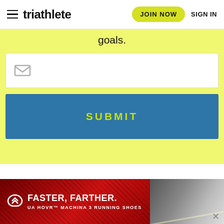triathlete | JOIN NOW | SIGN IN
goals.
[Figure (screenshot): Email input field with envelope icon placeholder]
SUBMIT
[Figure (photo): Under Armour advertisement banner: FASTER, FARTHER. UA HOVR MACHINA 3 RUNNING SHOES with shoe image on red background]